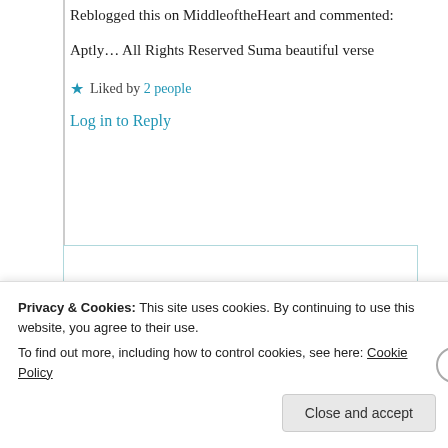Reblogged this on MiddleoftheHeart and commented:
Aptly… All Rights Reserved Suma beautiful verse
Liked by 2 people
Log in to Reply
Suma Reddy
15th Aug 2021 at 5:08 pm
Privacy & Cookies: This site uses cookies. By continuing to use this website, you agree to their use.
To find out more, including how to control cookies, see here: Cookie Policy
Close and accept